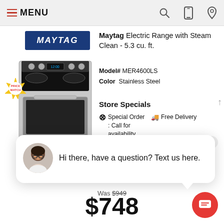MENU
[Figure (photo): Maytag electric range stainless steel appliance product photo with Maytag logo and Price Match badge]
Maytag Electric Range with Steam Clean - 5.3 cu. ft.
Model# MER4600LS
Color Stainless Steel
Store Specials
Special Order : Call for availability
Free Delivery
close
Hi there, have a question? Text us here.
Was $949
$748